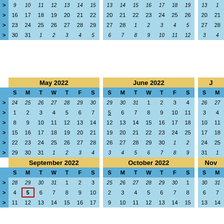|  | S | M | T | W | T | F | S |  | S | M | T | W | T | F | S |  | S | M |
| --- | --- | --- | --- | --- | --- | --- | --- | --- | --- | --- | --- | --- | --- | --- | --- | --- | --- | --- |
| > | 9 | 10 | 11 | 12 | 13 | 14 | 15 | > | 13 | 14 | 15 | 16 | 17 | 18 | 19 | > | 13 | 1 |
| > | 16 | 17 | 18 | 19 | 20 | 21 | 22 | > | 20 | 21 | 22 | 23 | 24 | 25 | 26 | > | 20 | 21 |
| > | 23 | 24 | 25 | 26 | 27 | 28 | 29 | > | 27 | 28 | 1 | 2 | 3 | 4 | 5 | > | 27 | 28 |
| > | 30 | 31 | 1 | 2 | 3 | 4 | 5 | > | 6 | 7 | 8 | 9 | 10 | 11 | 12 | > | 3 | 4 |
| May 2022 |  | June 2022 |  | J |
| --- | --- | --- | --- | --- |
| S | M | T | W | T | F | S |  | S | M | T | W | T | F | S |  | S | M |
| > | 24 | 25 | 26 | 27 | 28 | 29 | 30 | > | 29 | 30 | 31 | 1 | 2 | 3 | 4 | > | 26 | 27 |
| > | 1 | 2 | 3 | 4 | 5 | 6 | 7 | > | 5 | 6 | 7 | 8 | 9 | 10 | 11 | > | 3 | 4 |
| > | 8 | 9 | 10 | 11 | 12 | 13 | 14 | > | 12 | 13 | 14 | 15 | 16 | 17 | 18 | > | 10 | 11 |
| > | 15 | 16 | 17 | 18 | 19 | 20 | 21 | > | 19 | 20 | 21 | 22 | 23 | 24 | 25 | > | 17 | 18 |
| > | 22 | 23 | 24 | 25 | 26 | 27 | 28 | > | 26 | 27 | 28 | 29 | 30 | 1 | 2 | > | 24 | 25 |
| > | 29 | 30 | 31 | 1 | 2 | 3 | 4 | > | 3 | 4 | 5 | 6 | 7 | 8 | 9 | > | 31 | 1 |
| September 2022 |  | October 2022 |  | Nov |
| --- | --- | --- | --- | --- |
| S | M | T | W | T | F | S |  | S | M | T | W | T | F | S |  | S | M |
| > | 28 | 29 | 30 | 31 | 1 | 2 | 3 | > | 25 | 26 | 27 | 28 | 29 | 30 | 1 | > | 30 | 31 |
| > | 4 | 5 | 6 | 7 | 8 | 9 | 10 | > | 2 | 3 | 4 | 5 | 6 | 7 | 8 | > | 6 | 7 |
| > | 11 | 12 | 13 | 14 | 15 | 16 | 17 | > | 9 | 10 | 11 | 12 | 13 | 14 | 15 | > | 13 | 14 |